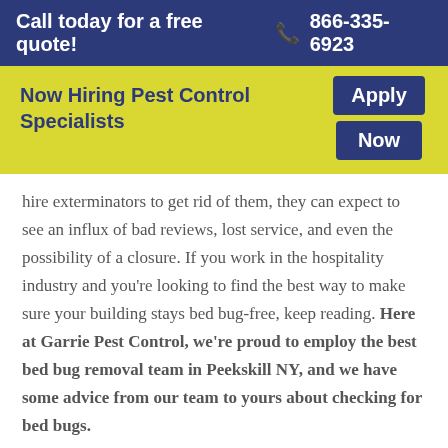Call today for a free quote! 📞 866-335-6923
Now Hiring Pest Control Specialists  Apply Now
hire exterminators to get rid of them, they can expect to see an influx of bad reviews, lost service, and even the possibility of a closure. If you work in the hospitality industry and you're looking to find the best way to make sure your building stays bed bug-free, keep reading. Here at Garrie Pest Control, we're proud to employ the best bed bug removal team in Peekskill NY, and we have some advice from our team to yours about checking for bed bugs.
Why Do Bed Bugs Like Hotels?